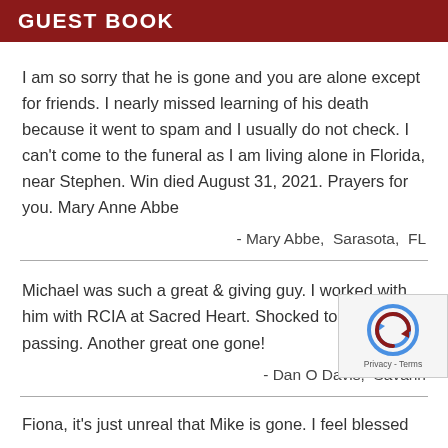GUEST BOOK
I am so sorry that he is gone and you are alone except for friends. I nearly missed learning of his death because it went to spam and I usually do not check. I can't come to the funeral as I am living alone in Florida, near Stephen. Win died August 31, 2021. Prayers for you. Mary Anne Abbe
- Mary Abbe,  Sarasota,  FL
Michael was such a great & giving guy. I worked with him with RCIA at Sacred Heart. Shocked to hear of his passing. Another great one gone!
- Dan O Davis,  Savann
Fiona, it's just unreal that Mike is gone. I feel blessed